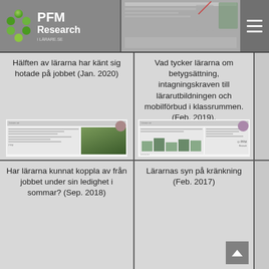PFM Research
Hälften av lärarna har känt sig hotade på jobbet (Jan. 2020)
[Figure (screenshot): Thumbnail of a report page showing a teacher at a chalkboard]
Vad tycker lärarna om betygsättning, intagningskraven till lärarutbildningen och mobilförbud i klassrummen. (Feb. 2019).
[Figure (screenshot): Thumbnail of a report page showing bar charts and data tables]
Har lärarna kunnat koppla av från jobbet under sin ledighet i sommar? (Sep. 2018)
Lärarnas syn på kränkning (Feb. 2017)